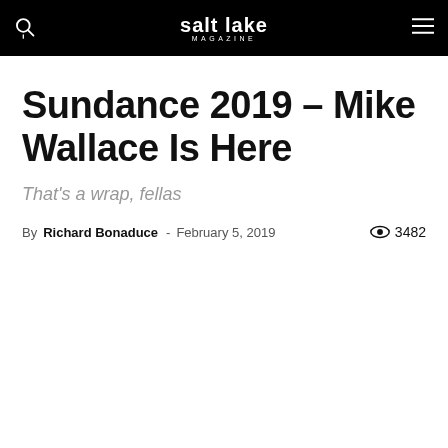salt lake MAGAZINE
Sundance 2019 – Mike Wallace Is Here
That's a wrap, fellas
By Richard Bonaduce - February 5, 2019  3482